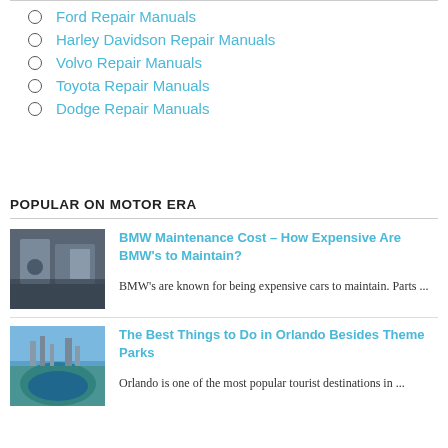Ford Repair Manuals
Harley Davidson Repair Manuals
Volvo Repair Manuals
Toyota Repair Manuals
Dodge Repair Manuals
POPULAR ON MOTOR ERA
[Figure (photo): Two people looking at a tablet in what appears to be a garage or automotive setting]
BMW Maintenance Cost – How Expensive Are BMW's to Maintain?
BMW's are known for being expensive cars to maintain. Parts ...
[Figure (photo): Aerial view of Orlando city with a lake in the foreground]
The Best Things to Do in Orlando Besides Theme Parks
Orlando is one of the most popular tourist destinations in ...